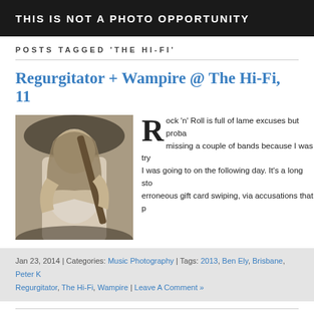THIS IS NOT A PHOTO OPPORTUNITY
POSTS TAGGED 'THE HI-FI'
Regurgitator + Wampire @ The Hi-Fi, 11...
[Figure (photo): Black and white photo of a musician playing guitar, long hair, white shirt]
Rock 'n' Roll is full of lame excuses but probably missing a couple of bands because I was trying... I was going to on the following day. It's a long sto... erroneous gift card swiping, via accusations that p...
Jan 23, 2014 | Categories: Music Photography | Tags: 2013, Ben Ely, Brisbane, Peter K... Regurgitator, The Hi-Fi, Wampire | Leave A Comment »
The Drones + Harmony @ The Hi-Fi, Bri...